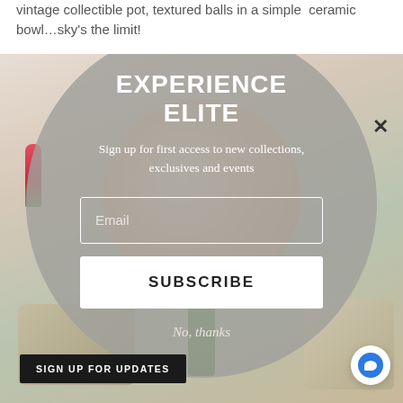vintage collectible pot, textured balls in a simple ceramic bowl...sky's the limit!
[Figure (screenshot): A popup modal overlay on a lifestyle/home decor webpage. The background shows a blurred photo of flowers, plants, and decorative objects. A large circular grey semi-transparent overlay contains: bold white heading 'EXPERIENCE ELITE', italic subtitle 'Sign up for first access to new collections, exclusives and events', an email input field, a white SUBSCRIBE button, and a 'No, thanks' link. A close X appears top right. A black 'SIGN UP FOR UPDATES' button appears bottom left, and a blue chat bubble icon appears bottom right.]